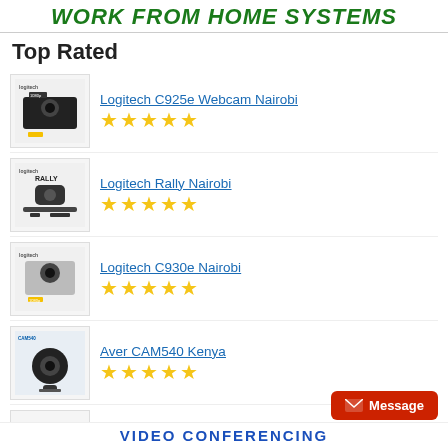Work From Home Systems
Top Rated
Logitech C925e Webcam Nairobi, 5 stars
Logitech Rally Nairobi, 5 stars
Logitech C930e Nairobi, 5 stars
Aver CAM540 Kenya, 5 stars
Avaya CU360 Nairobi Kenya, 5 stars
Logitech Group Nairobi Nairobi, 5 stars
VIDEO CONFERENCING